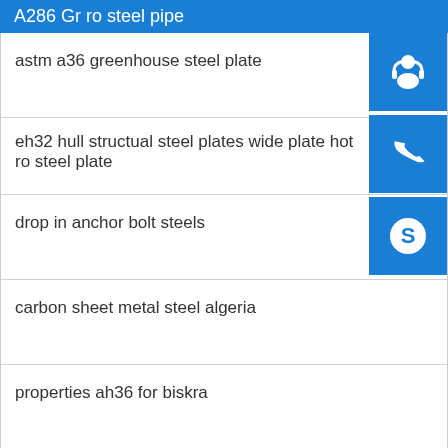A286 Gr ro steel pipe
astm a36 greenhouse steel plate
eh32 hull structual steel plates wide plate hot ro steel plate
drop in anchor bolt steels
carbon sheet metal steel algeria
properties ah36 for biskra
mild steel sheet plate astm a285 gr a b c d
Application
x12crmo5 steel spot